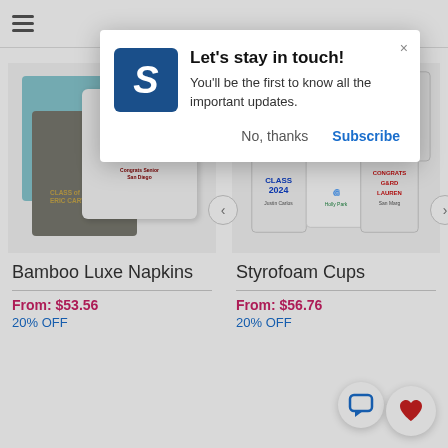[Figure (screenshot): Mobile e-commerce website showing a popup notification overlay and two product listings: Bamboo Luxe Napkins and Styrofoam Cups with graduation-themed customizations.]
[Figure (screenshot): Popup dialog with blue logo showing letter S, title 'Let's stay in touch!', body text 'You'll be the first to know all the important updates.', and buttons 'No, thanks' and 'Subscribe'.]
Let's stay in touch!
You'll be the first to know all the important updates.
No, thanks
Subscribe
Bamboo Luxe Napkins
From: $53.56
20% OFF
Styrofoam Cups
From: $56.76
20% OFF